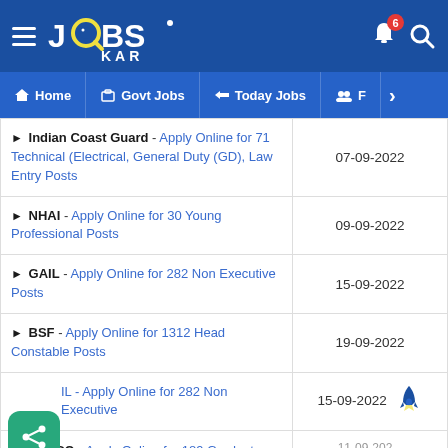JOBS KAR - Home | Govt Jobs | Today Jobs
Indian Coast Guard - Apply Online for 71 Technical (Electrical, General Duty (GD), Law Entry Posts | 07-09-2022
NHAI - Apply Online for 30 Young Professional Posts | 09-09-2022
GAIL - Apply Online for 282 Non Executive Posts | 15-09-2022
BSF - Apply Online for 1312 Head Constable Posts | 19-09-2022
GAIL - Apply Online for 282 Non Executive | 15-09-2022
NALCO - Apply Online for 189 Graduate | 11-09-2022